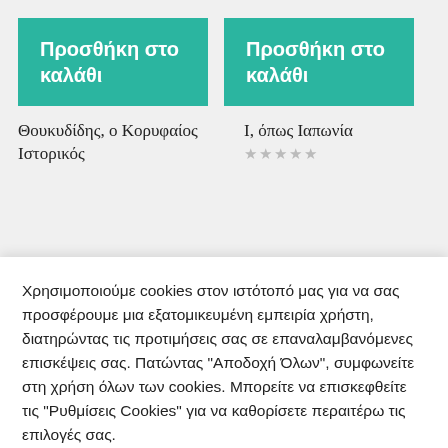[Figure (screenshot): Two teal 'Προσθήκη στο καλάθι' (Add to cart) buttons side by side]
Θουκυδίδης, ο Κορυφαίος Ιστορικός
Ι, όπως Ιαπωνία
Χρησιμοποιούμε cookies στον ιστότοπό μας για να σας προσφέρουμε μια εξατομικευμένη εμπειρία χρήστη, διατηρώντας τις προτιμήσεις σας σε επαναλαμβανόμενες επισκέψεις σας. Πατώντας "Αποδοχή Όλων", συμφωνείτε στη χρήση όλων των cookies. Μπορείτε να επισκεφθείτε τις "Ρυθμίσεις Cookies" για να καθορίσετε περαιτέρω τις επιλογές σας.
Ρυθμίσεις Cookies
Αποδοχή Όλων